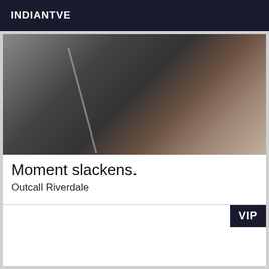INDIANTVE
[Figure (photo): Mirror selfie photo showing a person, dark toned image]
Moment slackens.
Outcall Riverdale
beautiful blonde experienced class experienced natural softness of extreme cleanliness. for discreet male genteel and courteous as clean. on RV.instant relaxation. NO NEGOCE. CALL ME.
VIP